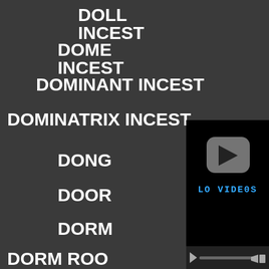DOLL INCEST
DOME INCEST
DOMINANT INCEST
DOMINATRIX INCEST
DONG
DOOR
DORM
DORM ROO
DOUBLE INCEST
[Figure (screenshot): Video player with play button and 'LO VIDEOS' text, black background, progress bar at bottom]